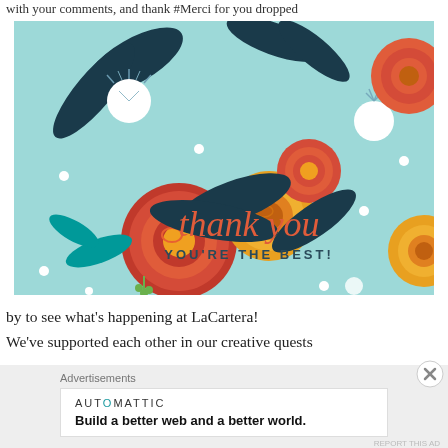with your comments, and thank #Merci for you dropped
[Figure (illustration): Floral thank you card illustration on light blue background with red and orange roses, dark teal leaves, white dandelion puffs, and cursive orange text reading 'thank you YOU'RE THE BEST!']
by to see what's happening at LaCartera!
We've supported each other in our creative quests
Advertisements
AUTOMATTIC
Build a better web and a better world.